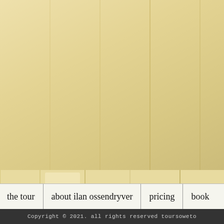[Figure (photo): Two-panel photograph: top panel shows a wooden wall/fence with a dark shadowy figure crouching at lower right; bottom panel shows a pale weathered wooden plank wall or fence with stains and marks.]
reduced to chaos. This must b... has been committed, justice m...
The magistrate paused briefly... South African Police whose t...
You Nelson Matshala, Moses... fashion, murdered Professor K... you all committed…. Do you...
“No, Your Worship. My clien... wish to express is that they ar... reached today is a moral outra...
“Get him out of here arrest th... Ginsberg, his face lowered in... and left the courtroom, alone.... discarded notes of the journa...
Two weeks later, after the han... streets of Soweto. An old Bla...
the tour
about ilan ossendryver
pricing
book
Copyright © 2021. all rights reserved toursoweto